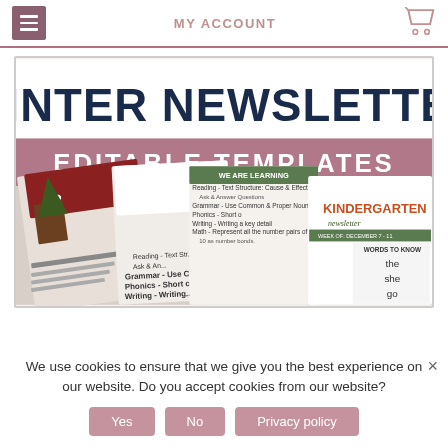MY ACCOUNT
[Figure (illustration): Winter Newsletter Editable Templates product image showing multiple colorful classroom newsletter templates with 'WINTER NEWSLETTER EDITABLE TEMPLATES' text overlay and sample pages including Kindergarten newsletter]
We use cookies to ensure that we give you the best experience on our website. Do you accept cookies from our website?
Yes
No
Privacy policy